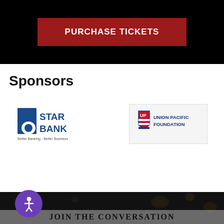[Figure (other): Dark/black background section with a red button labeled PURCHASE TICKETS]
Sponsors
[Figure (logo): 5 Star Bank logo - Better Banking - Better Business]
[Figure (logo): Union Pacific Foundation logo with shield emblem]
[Figure (photo): Dark background photo of an event venue with lights]
JOIN THE CONVERSATION